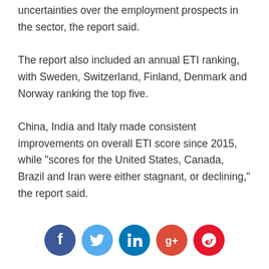uncertainties over the employment prospects in the sector, the report said.
The report also included an annual ETI ranking, with Sweden, Switzerland, Finland, Denmark and Norway ranking the top five.
China, India and Italy made consistent improvements on overall ETI score since 2015, while "scores for the United States, Canada, Brazil and Iran were either stagnant, or declining," the report said.
[Figure (other): Social media share icons row: Facebook (blue circle), Twitter (light blue circle), LinkedIn (teal circle), Google+ (red circle), Weibo (salmon/red circle)]